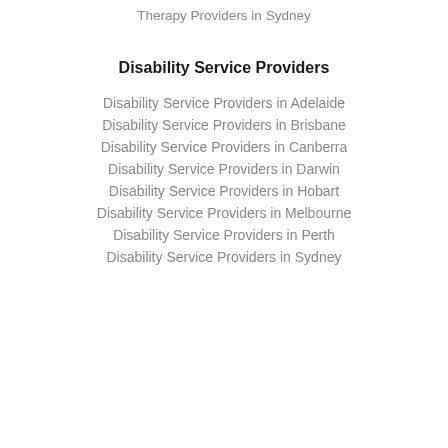Therapy Providers in Sydney
Disability Service Providers
Disability Service Providers in Adelaide
Disability Service Providers in Brisbane
Disability Service Providers in Canberra
Disability Service Providers in Darwin
Disability Service Providers in Hobart
Disability Service Providers in Melbourne
Disability Service Providers in Perth
Disability Service Providers in Sydney